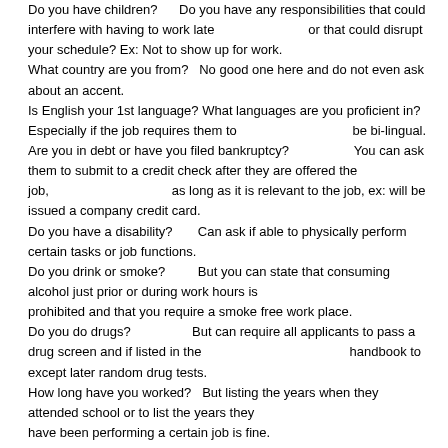Do you have children?      Do you have any responsibilities that could interfere with having to work late                                    or that could disrupt your schedule? Ex: Not to show up for work.
What country are you from?    No good one here and do not even ask about an accent.
Is English your 1st language? What languages are you proficient in? Especially if the job requires them to                                    be bi-lingual.
Are you in debt or have you filed bankruptcy?                    You can ask them to submit to a credit check after they are offered the job,                                          as long as it is relevant to the job, ex: will be issued a company credit card.
Do you have a disability?       Can ask if able to physically perform certain tasks or job functions.
Do you drink or smoke?         But you can state that consuming alcohol just prior or during work hours is                                         prohibited and that you require a smoke free work place.
Do you do drugs?                 But can require all applicants to pass a drug screen and if listed in the                                               handbook to except later random drug tests.
How long have you worked?    But listing the years when they attended school or to list the years they                                               have been performing a certain job is fine.
What is your religion?            But you can ask if they can work on Saturday or Sunday and if they need                                             any certain day off